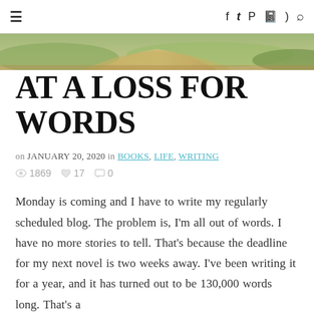≡  f  𝕏  𝗽  📖  ⊃  🔍
[Figure (photo): Outdoor landscape photo showing a path or road with green grass, used as hero/banner image at top of blog post]
AT A LOSS FOR WORDS
on JANUARY 20, 2020 in BOOKS, LIFE, WRITING
👁 1869  ♥ 17  💬 0
Monday is coming and I have to write my regularly scheduled blog. The problem is, I'm all out of words. I have no more stories to tell. That's because the deadline for my next novel is two weeks away. I've been writing it for a year, and it has turned out to be 130,000 words long. That's a